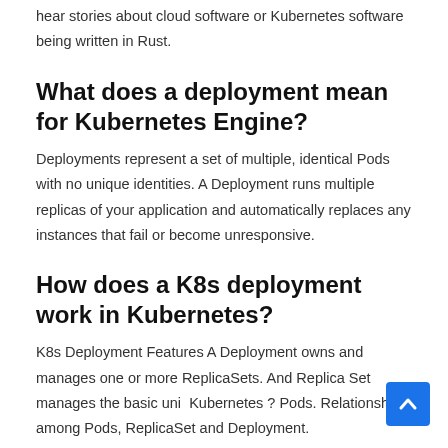hear stories about cloud software or Kubernetes software being written in Rust.
What does a deployment mean for Kubernetes Engine?
Deployments represent a set of multiple, identical Pods with no unique identities. A Deployment runs multiple replicas of your application and automatically replaces any instances that fail or become unresponsive.
How does a K8s deployment work in Kubernetes?
K8s Deployment Features A Deployment owns and manages one or more ReplicaSets. And Replica Set manages the basic unit Kubernetes ? Pods. Relationship among Pods, ReplicaSet and Deployment.